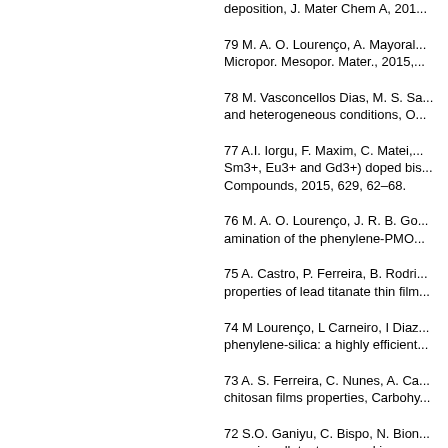deposition, J. Mater Chem A, 201...
79 M. A. O. Lourenço, A. Mayoral... Micropor. Mesopor. Mater., 2015,...
78 M. Vasconcellos Dias, M. S. Sa... and heterogeneous conditions, O...
77 A.I. Iorgu, F. Maxim, C. Matei,... Sm3+, Eu3+ and Gd3+) doped bis... Compounds, 2015, 629, 62–68.
76 M. A. O. Lourenço, J. R. B. Go... amination of the phenylene-PMO...
75 A. Castro, P. Ferreira, B. Rodri... properties of lead titanate thin film...
74 M Lourenço, L Carneiro, I Diaz... phenylene-silica: a highly efficient...
73 A. S. Ferreira, C. Nunes, A. Ca... chitosan films properties, Carbohy...
72 S.O. Ganiyu, C. Bispo, N. Bion... organic pollutants removal in aque...
71 C. Bispo, K. De Oliveira Vigier,... HMF over sulfonated periodic mes...
70 Nataly C. Rosero-Navarro, Ed... elastic behaviour of Nafion memb...